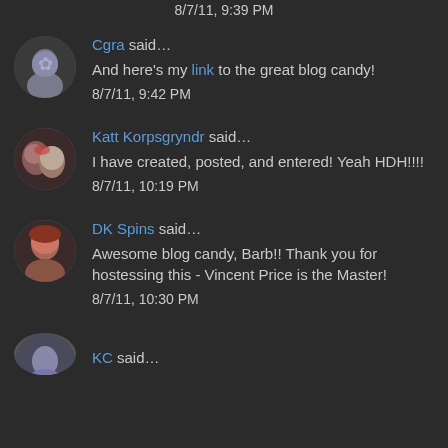8/7/11, 9:39 PM
Cgra said… And here's my link to the great blog candy! 8/7/11, 9:42 PM
Katt Korpsgryndr said… I have created, posted, and entered! Yeah HDH!!!! 8/7/11, 10:19 PM
DK Spins said… Awesome blog candy, Barb!! Thank you for hostessing this - Vincent Price is the Master! 8/7/11, 10:30 PM
KC said…